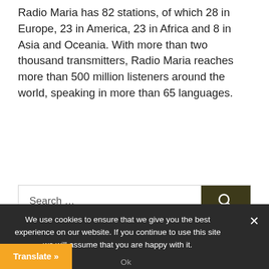Radio Maria has 82 stations, of which 28 in Europe, 23 in America, 23 in Africa and 8 in Asia and Oceania. With more than two thousand transmitters, Radio Maria reaches more than 500 million listeners around the world, speaking in more than 65 languages.
[Figure (other): Search box with text 'Search ...' and a dark olive/brown search button with magnifying glass icon]
AIRI – THE FIRST GLOBAL KIDS' RADIO APP
We use cookies to ensure that we give you the best experience on our website. If you continue to use this site we will assume that you are happy with it.
Ok
Translate »